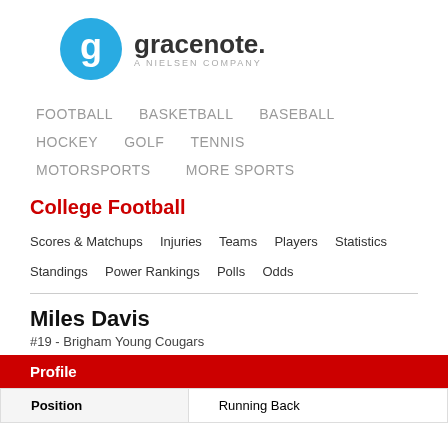[Figure (logo): Gracenote logo — blue circle with white 'g', beside 'gracenote.' text and 'A NIELSEN COMPANY' subtitle]
FOOTBALL  BASKETBALL  BASEBALL  HOCKEY  GOLF  TENNIS  MOTORSPORTS  MORE SPORTS
College Football
Scores & Matchups  Injuries  Teams  Players  Statistics  Standings  Power Rankings  Polls  Odds
Miles Davis
#19 - Brigham Young Cougars
| Profile |  |
| --- | --- |
| Position | Running Back |